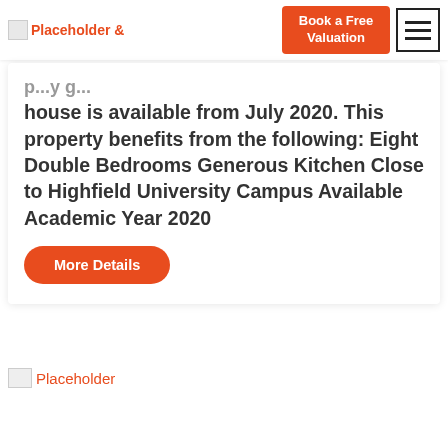Placeholder logo and navigation with Book a Free Valuation button and hamburger menu
house is available from July 2020. This property benefits from the following: Eight Double Bedrooms Generous Kitchen Close to Highfield University Campus Available Academic Year 2020
More Details
[Figure (photo): Placeholder image at bottom of page]